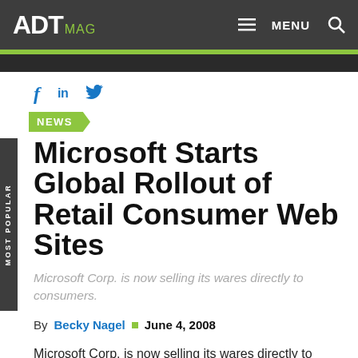ADT MAG — MENU
NEWS
Microsoft Starts Global Rollout of Retail Consumer Web Sites
Microsoft Corp. is now selling its wares directly to consumers.
By Becky Nagel  June 4, 2008
Microsoft Corp. is now selling its wares directly to consumers.